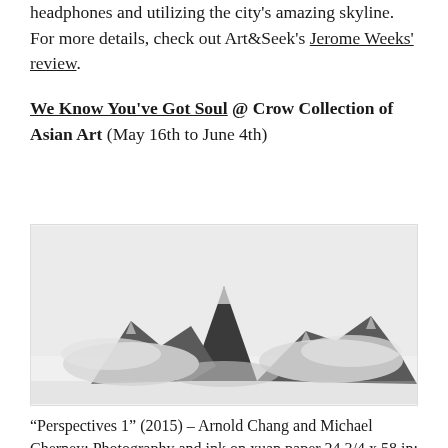headphones and utilizing the city's amazing skyline. For more details, check out Art&Seek's Jerome Weeks' review.
We Know You've Got Soul @ Crow Collection of Asian Art (May 16th to June 4th)
[Figure (photo): Black and white photograph of a mountainous landscape with ink-wash style rendering, showing jagged peaks and misty clouds, in a wide panoramic format on a light background.]
“Perspectives 1” (2015) – Arnold Chang and Michael Cherney; Photography and ink on xuan paper 24 3/4 x 58 in; Private Collection Image is courtesy of the artists